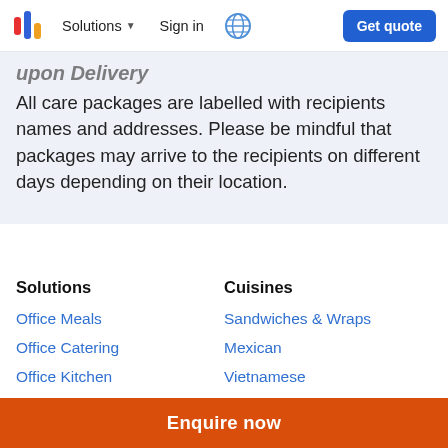Solutions ▾   Sign in   Get quote
Upon Delivery
All care packages are labelled with recipients names and addresses. Please be mindful that packages may arrive to the recipients on different days depending on their location.
Solutions
Cuisines
Office Meals
Office Catering
Office Kitchen
Sandwiches & Wraps
Mexican
Vietnamese
Enquire now